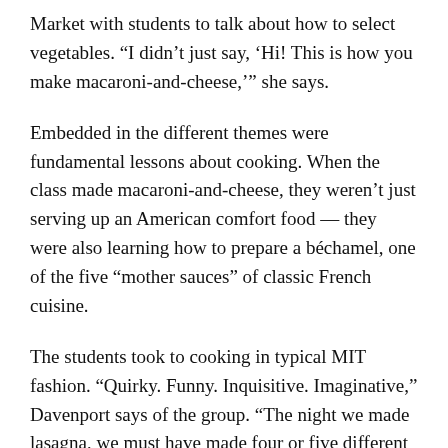Market with students to talk about how to select vegetables. “I didn’t just say, ‘Hi! This is how you make macaroni-and-cheese,’” she says.
Embedded in the different themes were fundamental lessons about cooking. When the class made macaroni-and-cheese, they weren’t just serving up an American comfort food — they were also learning how to prepare a béchamel, one of the five “mother sauces” of classic French cuisine.
The students took to cooking in typical MIT fashion. “Quirky. Funny. Inquisitive. Imaginative,” Davenport says of the group. “The night we made lasagna, we must have made four or five different types.”